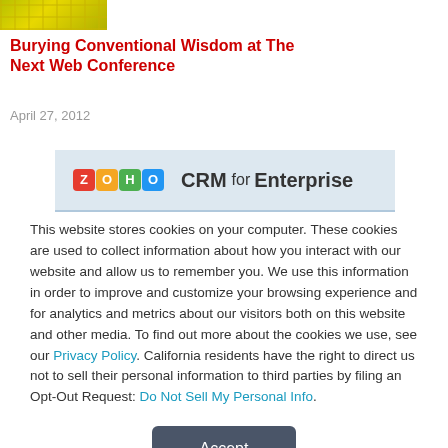[Figure (photo): Thumbnail image with yellow-green grid pattern and partial figure silhouette]
Burying Conventional Wisdom at The Next Web Conference
April 27, 2012
[Figure (logo): Zoho CRM for Enterprise advertisement banner with colorful logo blocks]
This website stores cookies on your computer. These cookies are used to collect information about how you interact with our website and allow us to remember you. We use this information in order to improve and customize your browsing experience and for analytics and metrics about our visitors both on this website and other media. To find out more about the cookies we use, see our Privacy Policy. California residents have the right to direct us not to sell their personal information to third parties by filing an Opt-Out Request: Do Not Sell My Personal Info.